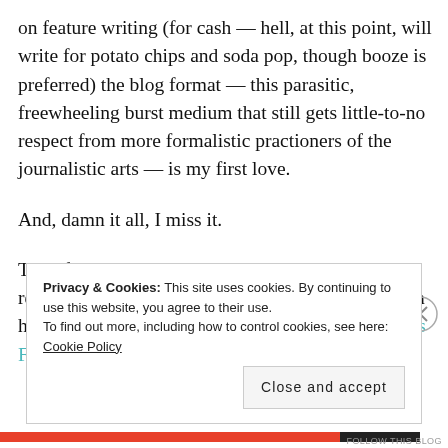on feature writing (for cash — hell, at this point, will write for potato chips and soda pop, though booze is preferred) the blog format — this parasitic, freewheeling burst medium that still gets little-to-no respect from more formalistic practioners of the journalistic arts — is my first love.
And, damn it all, I miss it.
Therefore, in the coming weeks, yours truly will be returning to regular daily (yes, daily) blogging, both here at bastard.logic and my other haunt, Comments From Left
Privacy & Cookies: This site uses cookies. By continuing to use this website, you agree to their use. To find out more, including how to control cookies, see here: Cookie Policy
Close and accept